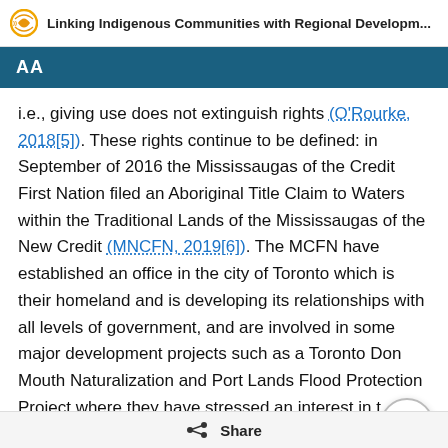Linking Indigenous Communities with Regional Developm...
i.e., giving use does not extinguish rights (O'Rourke, 2018[5]). These rights continue to be defined: in September of 2016 the Mississaugas of the Credit First Nation filed an Aboriginal Title Claim to Waters within the Traditional Lands of the Mississaugas of the New Credit (MNCFN, 2019[6]). The MCFN have established an office in the city of Toronto which is their homeland and is developing its relationships with all levels of government, and are involved in some major development projects such as a Toronto Don Mouth Naturalization and Port Lands Flood Protection Project where they have stressed an interest in the preservation of any future Aboriginal artefacts that
Share